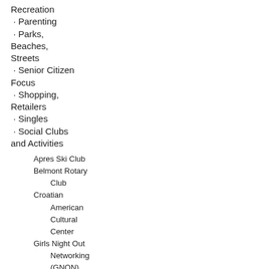Recreation
· Parenting
· Parks, Beaches, Streets
· Senior Citizen Focus
· Shopping, Retailers
· Singles
· Social Clubs and Activities
Apres Ski Club
Belmont Rotary Club
Croatian American Cultural Center
Girls Night Out Networking (GNON)
Lock and Key Match.com
Odd Salon
San Mateo Elk's Lodge
SF Games and Scavenger Hunts
Society of Single Professionals
Urban Diversion
· Transportation